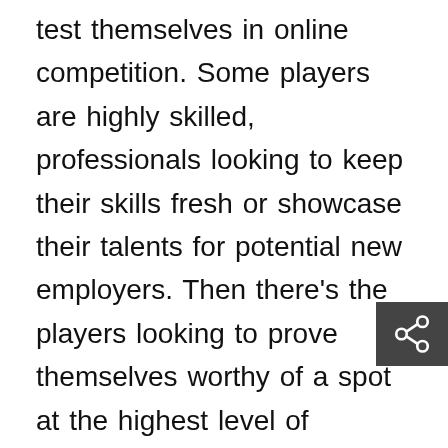test themselves in online competition. Some players are highly skilled, professionals looking to keep their skills fresh or showcase their talents for potential new employers. Then there's the players looking to prove themselves worthy of a spot at the highest level of competitive esports. The ones looking for an opportunity to sign with a top-tier team and make their professional breakthrough – whilst still having some fun in the process. YogaPatate falls into the latter category. At time of writing, he sits 3rd in the Challenger Series SFV rankings. He's just behind two Elite Series veterans (Hurricane and ImStillDaDaddy) and just ahead of two others